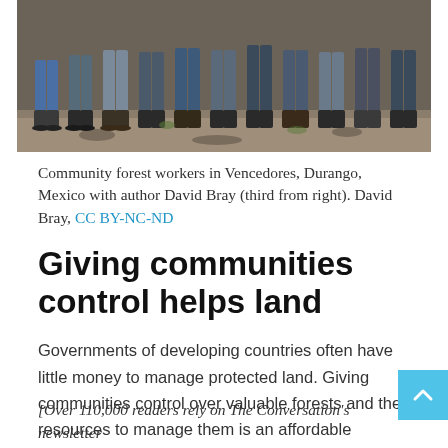[Figure (photo): Group photo of community forest workers in Vencedores, Durango, Mexico with author David Bray (third from right). Shows lower bodies/legs of a group of people standing on dirt ground.]
Community forest workers in Vencedores, Durango, Mexico with author David Bray (third from right). David Bray, CC BY-NC-ND
Giving communities control helps land
Governments of developing countries often have little money to manage protected land. Giving communities control over valuable forests and the resources to manage them is an affordable alternative.
[Over 110,000 readers rely on The Conversation's newsletter